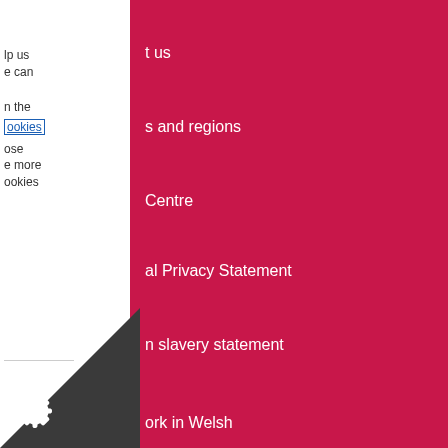t us
s and regions
lp us
e can
n the
ookies
ose
e more
ookies
Centre
al Privacy Statement
n slavery statement
ork in Welsh
t this website
sibility
s Policy
of Use